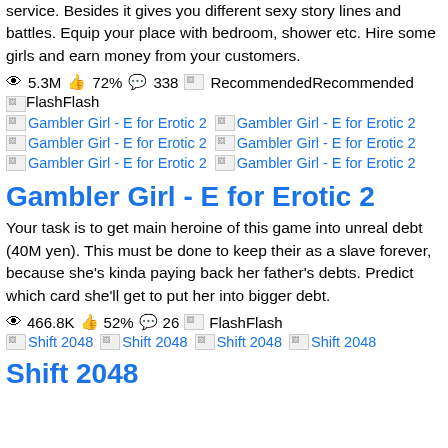service. Besides it gives you different sexy story lines and battles. Equip your place with bedroom, shower etc. Hire some girls and earn money from your customers.
👁5.3M 👍72% 💬338 [Recommended]Recommended
[Flash]Flash
[Gambler Girl - E for Erotic 2] x6 thumbnails
Gambler Girl - E for Erotic 2
Your task is to get main heroine of this game into unreal debt (40M yen). This must be done to keep their as a slave forever, because she's kinda paying back her father's debts. Predict which card she'll get to put her into bigger debt.
👁466.8K 👍52% 💬26 [Flash]Flash
[Shift 2048] x4 thumbnails
Shift 2048